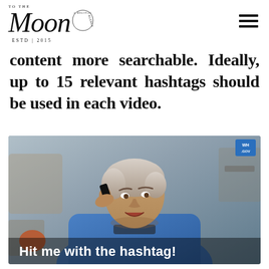TO THE Moon A DIGITAL AGENCY ESTD | 2015
content more searchable. Ideally, up to 15 relevant hashtags should be used in each video.
[Figure (photo): A man talking on a phone with an angry or intense expression, wearing a blue shirt. Kitchen background visible. WH.GOV badge in top right corner. Caption overlay reads 'Hit me with the hashtag!']